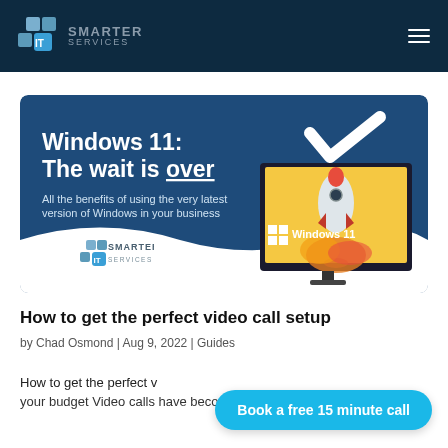SMARTER IT SERVICES
[Figure (illustration): Promotional banner for Windows 11: The wait is over — showing a monitor with a rocket launching from it displaying Windows 11 logo, white checkmark, and Smarter IT Services branding on a blue background.]
How to get the perfect video call setup
by Chad Osmond | Aug 9, 2022 | Guides
How to get the perfect video call setup that fits your budget Video calls have become increasingly
Book a free 15 minute call